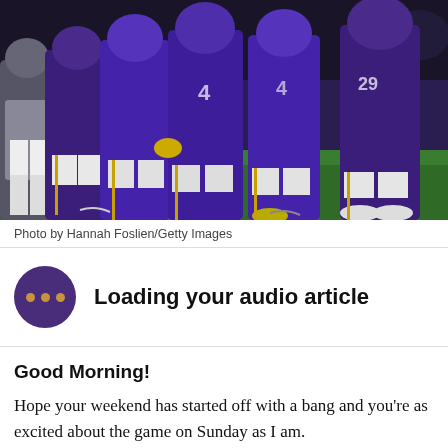[Figure (photo): Minnesota Vikings football players in purple uniforms celebrating or gathering on the field during a night game. Multiple players visible, green turf and orange pylon visible in background.]
Photo by Hannah Foslien/Getty Images
[Figure (infographic): Audio article loading indicator: dark purple circle with three orange dots inside, next to text 'Loading your audio article']
Good Morning!
Hope your weekend has started off with a bang and you're as excited about the game on Sunday as I am.